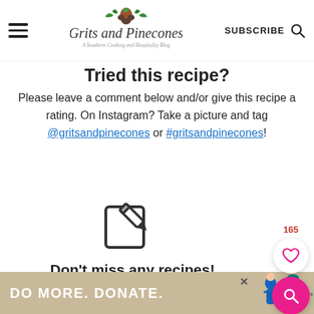Grits and Pinecones — A Southern Cooking and Hospitality Blog
Tried this recipe?
Please leave a comment below and/or give this recipe a rating. On Instagram? Take a picture and tag @gritsandpinecones or #gritsandpinecones!
[Figure (illustration): Edit/write icon (pencil on square outline)]
Don't miss any recipes!
[Figure (infographic): Advertisement banner: DO MORE. DONATE. with illustrated figures of people]
DO MORE. DONATE.